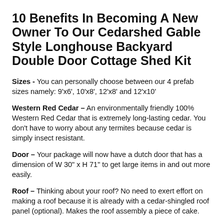10 Benefits In Becoming A New Owner To Our Cedarshed Gable Style Longhouse Backyard Double Door Cottage Shed Kit
Sizes - You can personally choose between our 4 prefab sizes namely: 9'x6', 10'x8', 12'x8' and 12'x10'
Western Red Cedar - An environmentally friendly 100% Western Red Cedar that is extremely long-lasting cedar. You don't have to worry about any termites because cedar is simply insect resistant.
Door - Your package will now have a dutch door that has a dimension of W 30" x H 71" to get large items in and out more easily.
Roof - Thinking about your roof? No need to exert effort on making a roof because it is already with a cedar-shingled roof panel (optional). Makes the roof assembly a piece of cake.
Windows - You will also receive an awesome 2 fixed windows W 16 1/4" x H 25 1/4" provide additional light and a nice looking exterior look.